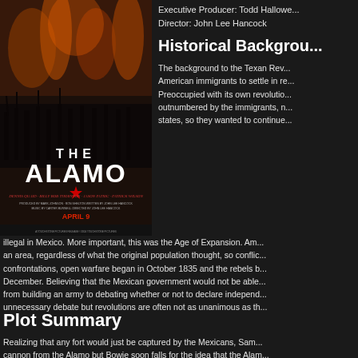[Figure (photo): Movie poster for 'The Alamo' showing battle scene with soldiers and fire, with title text THE ALAMO and release date APRIL 9]
Executive Producer: Todd Hallowe...
Director: John Lee Hancock
Historical Background
The background to the Texan Rev... American immigrants to settle in re... Preoccupied with its own revolutio... outnumbered by the immigrants, n... states, so they wanted to continue... illegal in Mexico. More important, this was the Age of Expansion. Am... an area, regardless of what the original population thought, so conflic... confrontations, open warfare began in October 1835 and the rebels b... December. Believing that the Mexican government would not be able... from building an army to debating whether or not to declare independ... unnecessary debate but revolutions are often not as unanimous as th...
Plot Summary
Realizing that any fort would just be captured by the Mexicans, Sam... cannon from the Alamo but Bowie soon falls for the idea that the Alam... and Texas. Actually, what started between Texas and the...